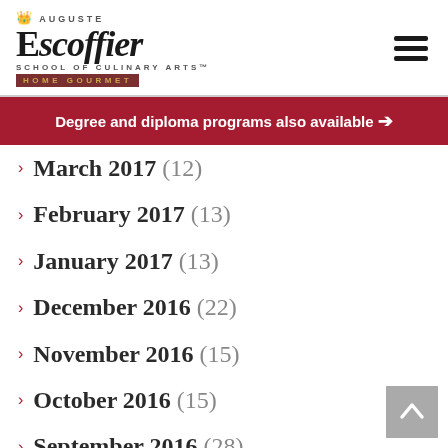Auguste Escoffier School of Culinary Arts - Home Gourmet
Degree and diploma programs also available →
March 2017 (12)
February 2017 (13)
January 2017 (13)
December 2016 (22)
November 2016 (15)
October 2016 (15)
September 2016 (28)
August 2016 (12)
July 2016 (24)